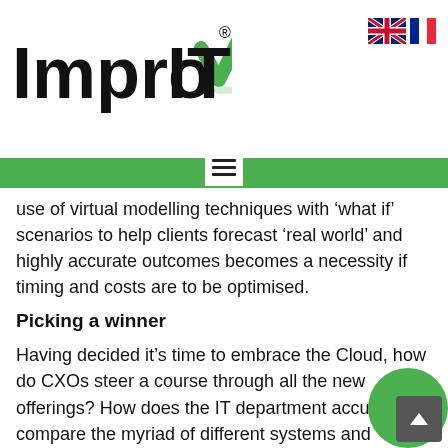ImprovIT
[Figure (logo): ImprovIT logo with green checkmark replacing the letter V, followed by IT in bold black text, with registered trademark symbol]
[Figure (illustration): UK flag (Union Jack) and French flag (tricolour) emoji/icons side by side for language selection]
use of virtual modelling techniques with ‘what if’ scenarios to help clients forecast ‘real world’ and highly accurate outcomes becomes a necessity if timing and costs are to be optimised.
Picking a winner
Having decided it’s time to embrace the Cloud, how do CXOs steer a course through all the new offerings? How does the IT department accurately compare the myriad of different systems and services to identify which best suits their needs